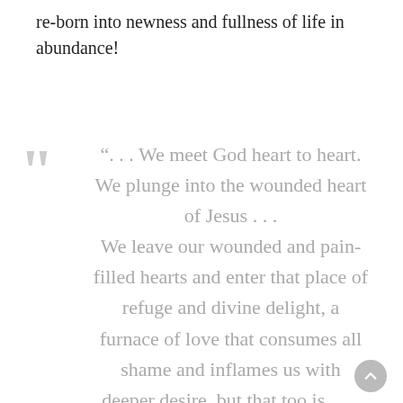re-born into newness and fullness of life in abundance!
“. . . We meet God heart to heart. We plunge into the wounded heart of Jesus . . . We leave our wounded and pain-filled hearts and enter that place of refuge and divine delight, a furnace of love that consumes all shame and inflames us with deeper desire, but that too is delightful . . .